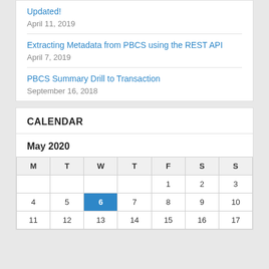Updated!
April 11, 2019
Extracting Metadata from PBCS using the REST API
April 7, 2019
PBCS Summary Drill to Transaction
September 16, 2018
CALENDAR
May 2020
| M | T | W | T | F | S | S |
| --- | --- | --- | --- | --- | --- | --- |
|  |  |  |  | 1 | 2 | 3 |
| 4 | 5 | 6 | 7 | 8 | 9 | 10 |
| 11 | 12 | 13 | 14 | 15 | 16 | 17 |